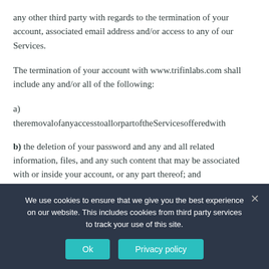any other third party with regards to the termination of your account, associated email address and/or access to any of our Services.
The termination of your account with www.trifinlabs.com shall include any and/or all of the following:
a) theremovalofanyaccesstoallorpartoftheServicesofferedwith
b) the deletion of your password and any and all related information, files, and any such content that may be associated with or inside your account, or any part thereof; and
We use cookies to ensure that we give you the best experience on our website. This includes cookies from third party services to track your use of this site.